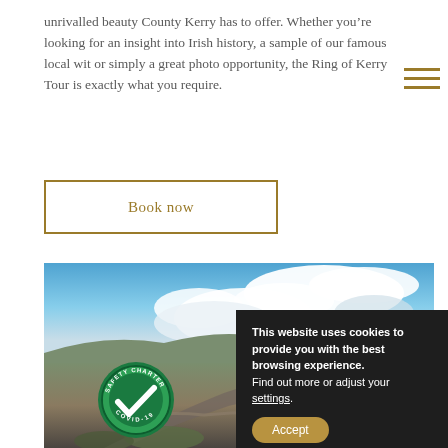unrivalled beauty County Kerry has to offer. Whether you’re looking for an insight into Irish history, a sample of our famous local wit or simply a great photo opportunity, the Ring of Kerry Tour is exactly what you require.
Book now
[Figure (photo): Scenic landscape photo of the Ring of Kerry showing a winding road along cliffs with blue sky and clouds]
[Figure (logo): Safety Charter COVID-19 green circular badge with checkmark]
This website uses cookies to provide you with the best browsing experience. Find out more or adjust your settings.
Accept